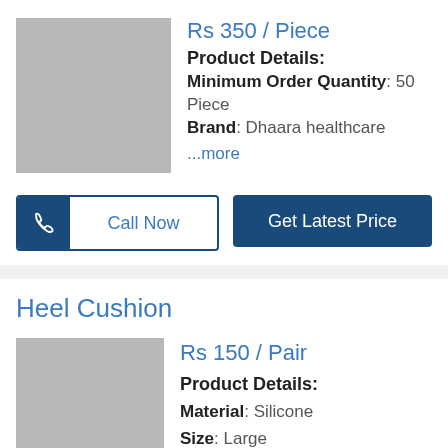Rs 350 / Piece
Product Details:
Minimum Order Quantity: 50 Piece
Brand: Dhaara healthcare
...more
Call Now
Get Latest Price
Heel Cushion
Rs 150 / Pair
Product Details:
Material: Silicone
Size: Large
Type: silicone